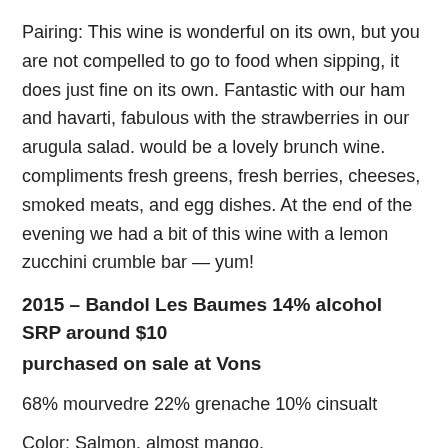Pairing: This wine is wonderful on its own, but you are not compelled to go to food when sipping, it does just fine on its own. Fantastic with our ham and havarti, fabulous with the strawberries in our arugula salad. would be a lovely brunch wine. compliments fresh greens, fresh berries, cheeses, smoked meats, and egg dishes. At the end of the evening we had a bit of this wine with a lemon zucchini crumble bar — yum!
2015 – Bandol Les Baumes 14% alcohol SRP around $10
purchased on sale at Vons
68% mourvedre 22% grenache 10% cinsualt
Color: Salmon, almost mango.
Nose: (incomplete — cut off)